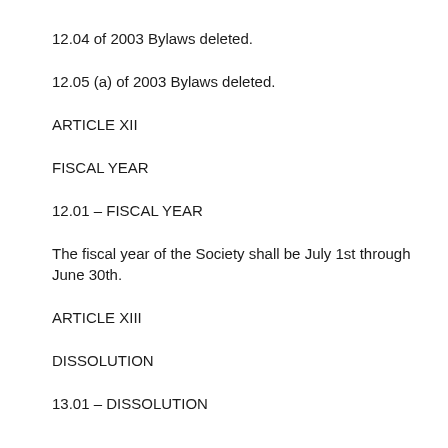12.04 of 2003 Bylaws deleted.
12.05 (a) of 2003 Bylaws deleted.
ARTICLE XII
FISCAL YEAR
12.01 – FISCAL YEAR
The fiscal year of the Society shall be July 1st through June 30th.
ARTICLE XIII
DISSOLUTION
13.01 – DISSOLUTION